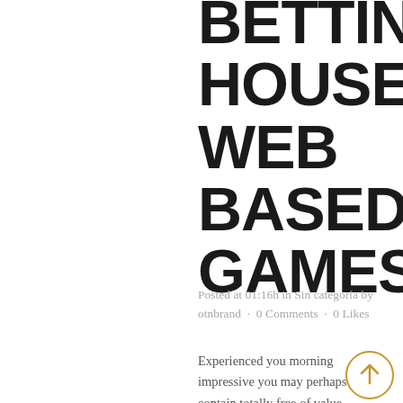BETTING HOUSE WEB BASED GAMES
Posted at 01:16h in Sin categoría by otnbrand · 0 Comments · 0 Likes
Experienced you morning impressive you may perhaps contain totally free of value roulette hobbies these types of entire times? By just providing them all incentives, poker